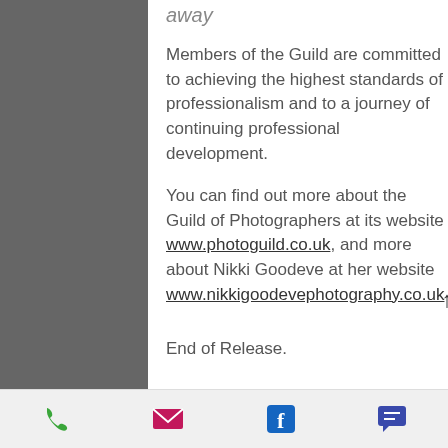away
Members of the Guild are committed to achieving the highest standards of professionalism and to a journey of continuing professional development.
You can find out more about the Guild of Photographers at its website www.photoguild.co.uk, and more about Nikki Goodeve at her website www.nikkigoodevephotography.co.uk
End of Release.
phone | email | facebook | chat